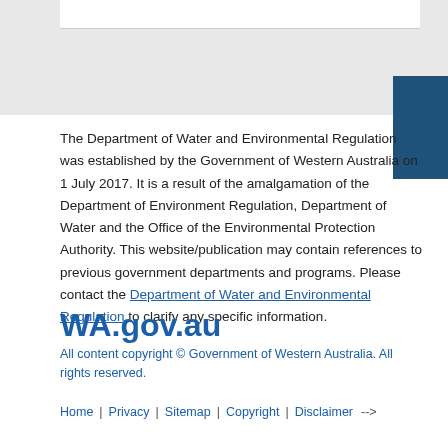[Figure (other): Government website header area with light grey background, white content box at top, and dark blue square in upper right corner]
The Department of Water and Environmental Regulation was established by the Government of Western Australia on 1 July 2017. It is a result of the amalgamation of the Department of Environment Regulation, Department of Water and the Office of the Environmental Protection Authority. This website/publication may contain references to previous government departments and programs. Please contact the Department of Water and Environmental Regulation to clarify any specific information.
WA.gov.au
All content copyright © Government of Western Australia. All rights reserved.
Home | Privacy | Sitemap | Copyright | Disclaimer -->